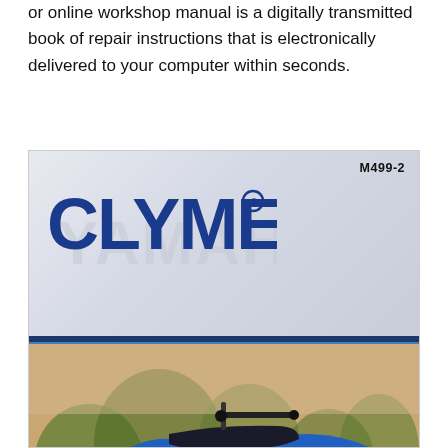or online workshop manual is a digitally transmitted book of repair instructions that is electronically delivered to your computer within seconds.
[Figure (photo): Clymer M499-2 repair manual book cover featuring the Clymer logo in blue on a grey background (top half) and a photograph of a blue Yamaha ATV four-wheeler on a dirt surface (bottom half).]